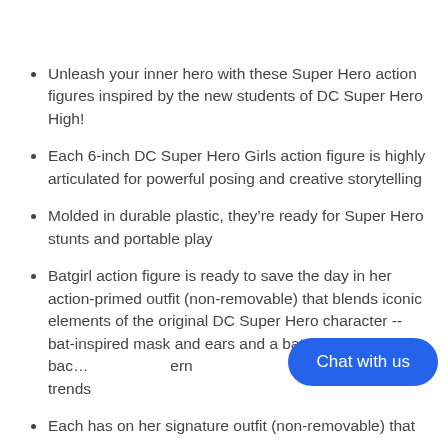Unleash your inner hero with these Super Hero action figures inspired by the new students of DC Super Hero High!
Each 6-inch DC Super Hero Girls action figure is highly articulated for powerful posing and creative storytelling
Molded in durable plastic, they’re ready for Super Hero stunts and portable play
Batgirl action figure is ready to save the day in her action-primed outfit (non-removable) that blends iconic elements of the original DC Super Hero character -- bat-inspired mask and ears and a bat-shaped back…ern trends
Each has on her signature outfit (non-removable) that